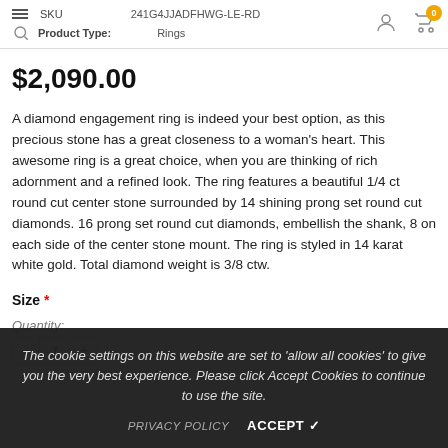SKU  241G4JJADFHWG-LE-RD  Product Type: Rings
$2,090.00
A diamond engagement ring is indeed your best option, as this precious stone has a great closeness to a woman's heart. This awesome ring is a great choice, when you are thinking of rich adornment and a refined look. The ring features a beautiful 1/4 ct round cut center stone surrounded by 14 shining prong set round cut diamonds. 16 prong set round cut diamonds, embellish the shank, 8 on each side of the center stone mount. The ring is styled in 14 karat white gold. Total diamond weight is 3/8 ctw.
Size *
Quantity:
The cookie settings on this website are set to 'allow all cookies' to give you the very best experience. Please click Accept Cookies to continue to use the site.
PRIVACY POLICY  ACCEPT ✓